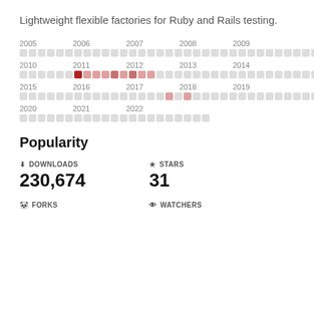Lightweight flexible factories for Ruby and Rails testing.
[Figure (infographic): Activity heatmap grid showing commit/release activity from 2005 to 2022, with years labeled and colored squares indicating activity level. Peak activity shown in 2011 (dark red) and 2012 (medium red), with lighter activity in 2017-2018.]
Popularity
DOWNLOADS
230,674
STARS
31
FORKS
WATCHERS